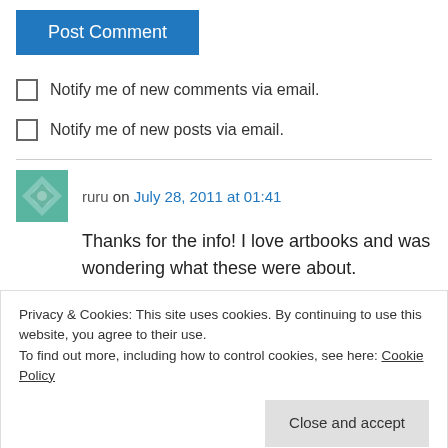Post Comment
Notify me of new comments via email.
Notify me of new posts via email.
ruru on July 28, 2011 at 01:41
Thanks for the info! I love artbooks and was wondering what these were about.
Will you be posting some sample scans/photos
Privacy & Cookies: This site uses cookies. By continuing to use this website, you agree to their use.
To find out more, including how to control cookies, see here: Cookie Policy
Close and accept
derpchan on July 28, 2011 at 01:45